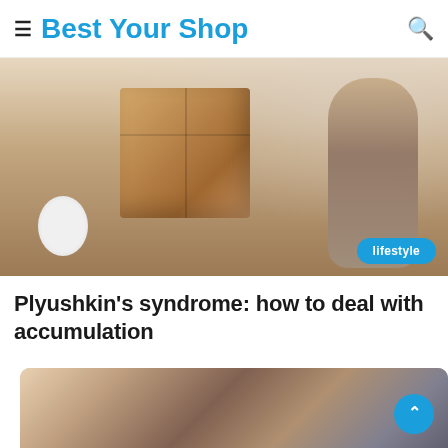Best Your Shop
[Figure (photo): Man carrying a large cardboard box, woman standing nearby, moving boxes in background. Lifestyle badge overlay in bottom right.]
Plyushkin's syndrome: how to deal with accumulation
[Figure (photo): Couple embracing outdoors, partial view from the top, warm tones.]